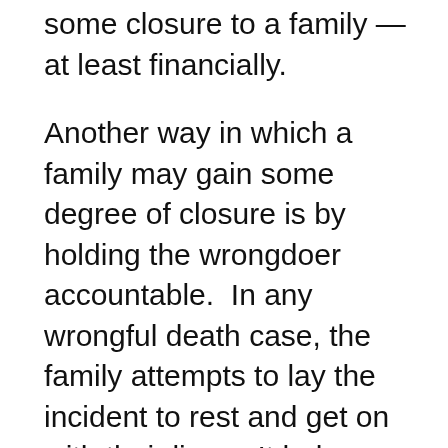some closure to a family — at least financially.
Another way in which a family may gain some degree of closure is by holding the wrongdoer accountable. In any wrongful death case, the family attempts to lay the incident to rest and get on with their lives. It helps when you know that legal action may prevent or at least lessen the likelihood of someone else experiencing a similar tragedy. Certainly a wrongful death lawsuit acts as a deterrent for the same person to repeat the mistake. It also